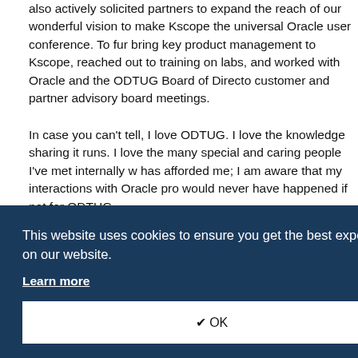also actively solicited partners to expand the reach of our wonderful vision to make Kscope the universal Oracle user conference. To further bring key product management to Kscope, reached out to training on labs, and worked with Oracle and the ODTUG Board of Directors customer and partner advisory board meetings.
In case you can't tell, I love ODTUG. I love the knowledge sharing it runs. I love the many special and caring people I've met internally with has afforded me; I am aware that my interactions with Oracle product would never have happened if not for ODTUG.
As an ODTUG board member, I will bring all of the passion, enthusiasm years. With Board and ility, and c
has been with 10, she w istrator and 2008 and
content chair.
[Figure (screenshot): Cookie consent overlay with dark navy background. Text reads: 'This website uses cookies to ensure you get the best experience on our website.' with a 'Learn more' underlined link and a white OK button with checkmark.]